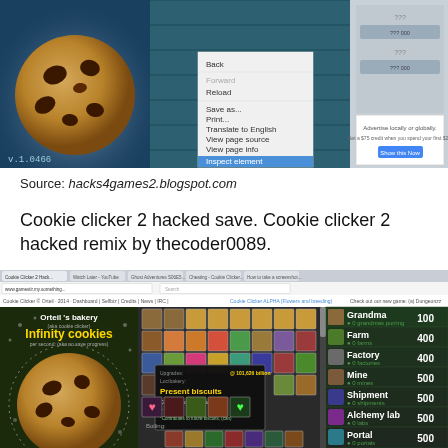[Figure (screenshot): Screenshot of Cookie Clicker game showing a large cookie on the left, a browser right-click context menu in the middle with 'Inspect element' highlighted, and an advertisement on the right. Version v.1.0466 shown bottom left.]
Source: hacks4games2.blogspot.com
Cookie clicker 2 hacked save. Cookie clicker 2 hacked remix by thecoder0089.
[Figure (screenshot): Screenshot of Cookie Clicker hacked game in a browser showing infinity cookies, upgrades grid in the middle, and shop items (Grandma 100, Farm 400, Factory 400, Mine 500, Shipment 500, Alchemy lab 500, Portal 500) on the right. A tooltip popup shows Present biscuits cookie production multiplier.]